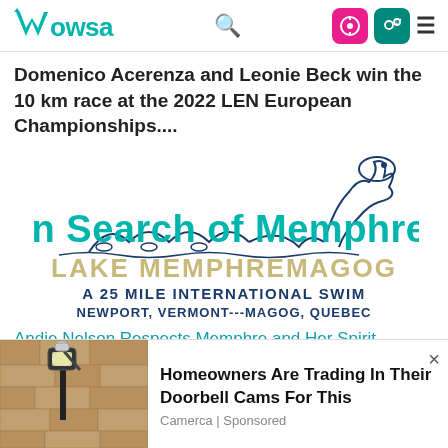WOWSA
Domenico Acerenza and Leonie Beck win the 10 km race at the 2022 LEN European Championships....
[Figure (logo): In Search of Memphre logo - Lake Memphremagog A 25 Mile International Swim Newport, Vermont---Magog, Quebec]
Andie Nelson Respects Memphre and Her Spirit
Andie Nelson attempted a 40 km In Search of
[Figure (photo): Photo of an outdoor wall lantern/light fixture on a stone wall]
Homeowners Are Trading In Their Doorbell Cams For This
Camerca | Sponsored